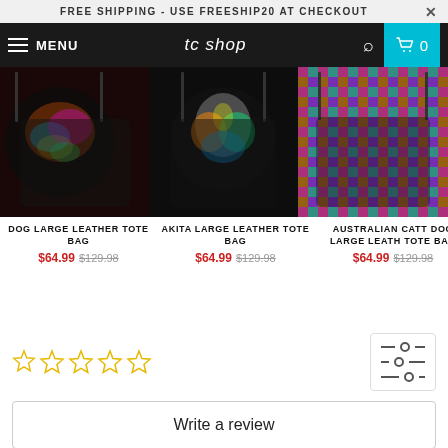FREE SHIPPING - USE FREESHIP20 AT CHECKOUT
[Figure (screenshot): Navigation bar with hamburger menu, MENU text, tc shop logo, search icon, and cart button showing 0 items]
[Figure (photo): Three product images showing colorful dog-themed large leather tote bags: one with bulldog design, one with Akita design, one with Australian Cattle Dog design]
DOG LARGE LEATHER TOTE BAG $64.99 $129.98
AKITA LARGE LEATHER TOTE BAG $64.99 $129.98
AUSTRALIAN CATTLE DOG LARGE LEATHER TOTE BAG $64.99 $129.98
[Figure (other): Five empty star rating icons (outline stars, gold color) for customer reviews section]
Write a review